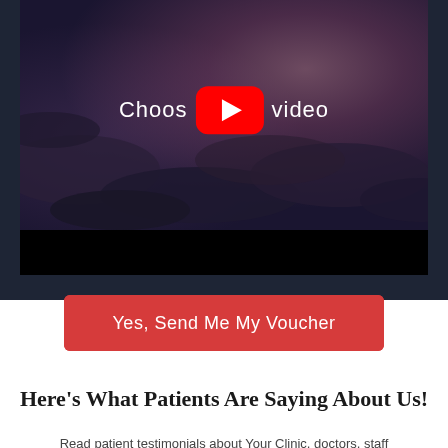[Figure (screenshot): Video player thumbnail showing dark cloudy sky background with YouTube play button in the center. Text reads 'Choose [YouTube icon] video' with a black control bar at the bottom.]
Yes, Send Me My Voucher
Here's What Patients Are Saying About Us!
Read patient testimonials about Your Clinic, doctors, staff